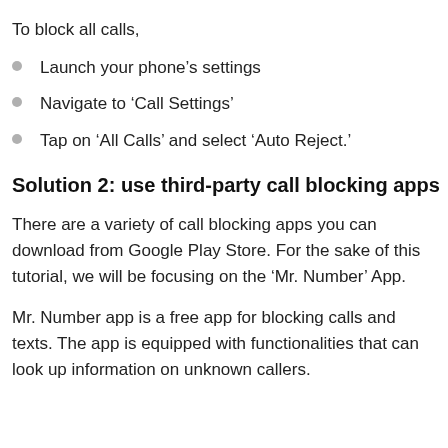To block all calls,
Launch your phone's settings
Navigate to ‘Call Settings’
Tap on ‘All Calls’ and select ‘Auto Reject.’
Solution 2: use third-party call blocking apps
There are a variety of call blocking apps you can download from Google Play Store. For the sake of this tutorial, we will be focusing on the ‘Mr. Number’ App.
Mr. Number app is a free app for blocking calls and texts. The app is equipped with functionalities that can look up information on unknown callers.